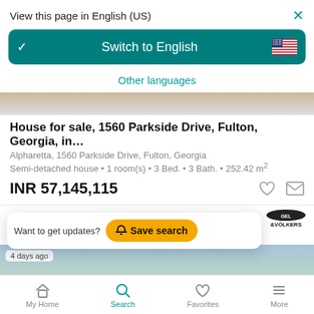View this page in English (US)
Switch to English
Other languages
House for sale, 1560 Parkside Drive, Fulton, Georgia, in…
Alpharetta, 1560 Parkside Drive, Fulton, Georgia
Semi-detached house • 1 room(s) • 3 Bed. • 3 Bath. • 252.42 m²
INR 57,145,115
Want to get updates?  Save search
4 days ago
My Home  Search  Favorites  More